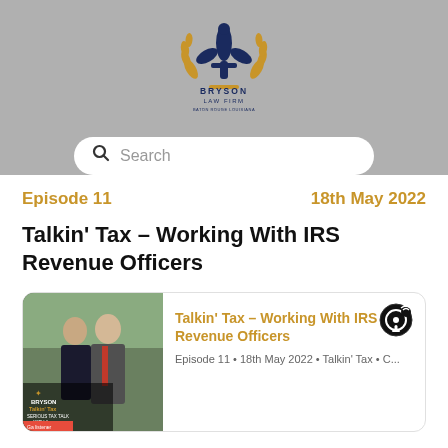[Figure (logo): Bryson Law Firm logo with fleur-de-lis emblem and laurel wreath, dark navy blue and gold, text reads BRYSON LAW FIRM]
Search
Episode 11   18th May 2022
Talkin' Tax – Working With IRS Revenue Officers
[Figure (photo): Podcast card thumbnail showing two people standing outdoors in professional attire, with Bryson Law Firm Talkin Tax podcast overlay branding]
Talkin' Tax – Working With IRS Revenue Officers
Episode 11 • 18th May 2022 • Talkin' Tax • C...